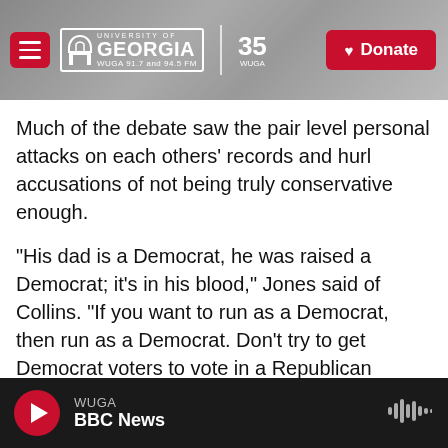University of Georgia WUGA 91.7 and 94.5 FM | 35 WUGA | Donate
Much of the debate saw the pair level personal attacks on each others' records and hurl accusations of not being truly conservative enough.
"His dad is a Democrat, he was raised a Democrat; it's in his blood," Jones said of Collins. "If you want to run as a Democrat, then run as a Democrat. Don't try to get Democrat voters to vote in a Republican primary."
Jones was a Democratic state lawmaker and previously served as CEO of one of the most Democratic counties in the state before switching
WUGA | BBC News